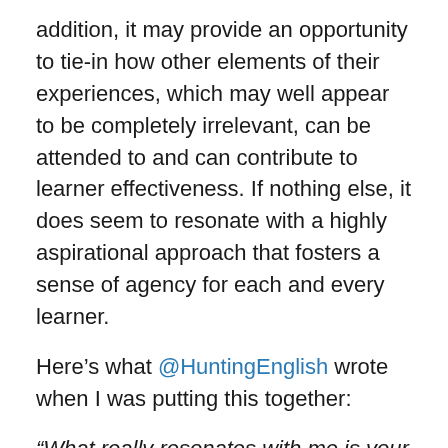addition, it may provide an opportunity to tie-in how other elements of their experiences, which may well appear to be completely irrelevant, can be attended to and can contribute to learner effectiveness. If nothing else, it does seem to resonate with a highly aspirational approach that fosters a sense of agency for each and every learner.
Here's what @HuntingEnglish wrote when I was putting this together:
“What really resonates with me is your point about ‘learner effectiveness’. I think the ‘aggregation of marginal gains’ concept could be a powerful way for students to reflect upon their progress. We often make visible the learning objective, such as honing a given skill, then refer back to it in subsequent lessons; however, too often this process is too teacher led.